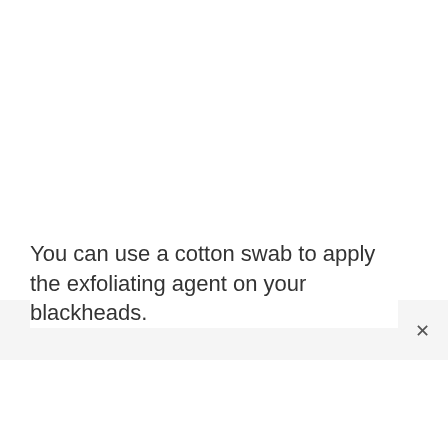You can use a cotton swab to apply the exfoliating agent on your blackheads.